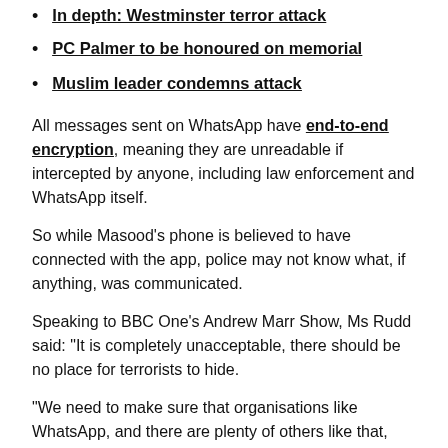In depth: Westminster terror attack
PC Palmer to be honoured on memorial
Muslim leader condemns attack
All messages sent on WhatsApp have end-to-end encryption, meaning they are unreadable if intercepted by anyone, including law enforcement and WhatsApp itself.
So while Masood's phone is believed to have connected with the app, police may not know what, if anything, was communicated.
Speaking to BBC One's Andrew Marr Show, Ms Rudd said: "It is completely unacceptable, there should be no place for terrorists to hide.
"We need to make sure that organisations like WhatsApp, and there are plenty of others like that, don't provide a secret place for terrorists to communicate with each other.